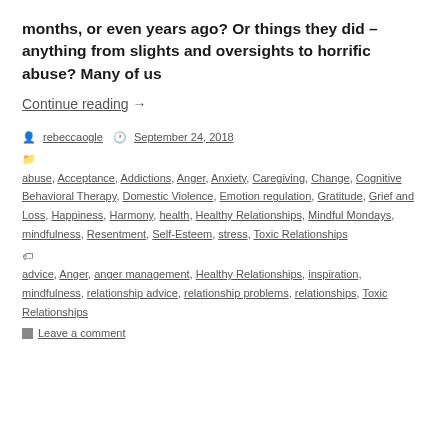months, or even years ago? Or things they did – anything from slights and oversights to horrific abuse? Many of us
Continue reading →
rebeccaogle  September 24, 2018
abuse, Acceptance, Addictions, Anger, Anxiety, Caregiving, Change, Cognitive Behavioral Therapy, Domestic Violence, Emotion regulation, Gratitude, Grief and Loss, Happiness, Harmony, health, Healthy Relationships, Mindful Mondays, mindfulness, Resentment, Self-Esteem, stress, Toxic Relationships
advice, Anger, anger management, Healthy Relationships, inspiration, mindfulness, relationship advice, relationship problems, relationships, Toxic Relationships
Leave a comment